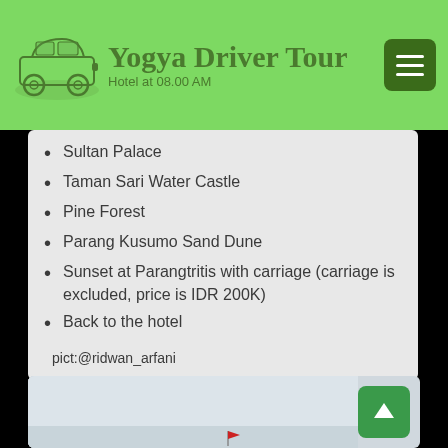Yogya Driver Tour – Hotel at 08.00 AM
Sultan Palace
Taman Sari Water Castle
Pine Forest
Parang Kusumo Sand Dune
Sunset at Parangtritis with carriage (carriage is excluded, price is IDR 200K)
Back to the hotel
pict:@ridwan_arfani
[Figure (photo): Beach/ocean photo strip at bottom of page with a small red flag visible]